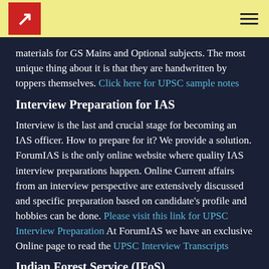ForumIAS logo and navigation
materials for GS Mains and Optional subjects. The most unique thing about it is that they are handwritten by toppers themselves. Click here for UPSC sample notes
Interview Preparation for IAS
Interview is the last and crucial stage for becoming an IAS officer. How to prepare for it? We provide a solution. ForumIAS is the only online website where quality IAS interview preparations happen. Online Current affairs from an interview perspective are extensively discussed and specific preparation based on candidate’s profile and hobbies can be done. Please visit this link for UPSC Interview Preparation At ForumIAS we have an exclusive Online page to read the UPSC Interview Transcripts
Indian Forest Service (IFoS)